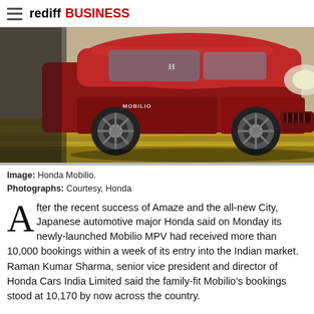rediff BUSINESS
[Figure (photo): Honda Mobilio MPV car in dark red, shot from front-left angle showing headlight and wheel, with motion-blurred road background]
Image: Honda Mobilio.
Photographs: Courtesy, Honda
After the recent success of Amaze and the all-new City, Japanese automotive major Honda said on Monday its newly-launched Mobilio MPV had received more than 10,000 bookings within a week of its entry into the Indian market.
Raman Kumar Sharma, senior vice president and director of Honda Cars India Limited said the family-fit Mobilio's bookings stood at 10,170 by now across the country.